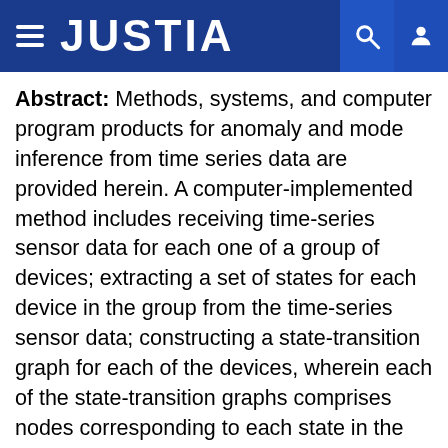JUSTIA
Abstract: Methods, systems, and computer program products for anomaly and mode inference from time series data are provided herein. A computer-implemented method includes receiving time-series sensor data for each one of a group of devices; extracting a set of states for each device in the group from the time-series sensor data; constructing a state-transition graph for each of the devices, wherein each of the state-transition graphs comprises nodes corresponding to each state in the set and edges corresponding to a probability of transition between the extracted states over time; identifying, for each set, a given state as one of: a mode, a normal state and an anomalous state based on the state-transition graph; and detecting one or more anomalous devices in the group by computing similarities between different devices in the group, based at least in part on the